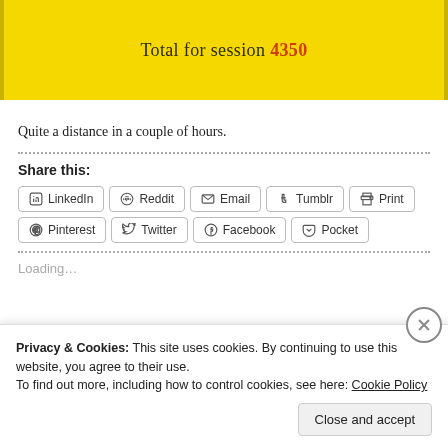[Figure (screenshot): Yellow background banner showing 'Total for session 4350']
Quite a distance in a couple of hours.
Share this:
LinkedIn | Reddit | Email | Tumblr | Print | Pinterest | Twitter | Facebook | Pocket
Loading...
Privacy & Cookies: This site uses cookies. By continuing to use this website, you agree to their use.
To find out more, including how to control cookies, see here: Cookie Policy
Close and accept